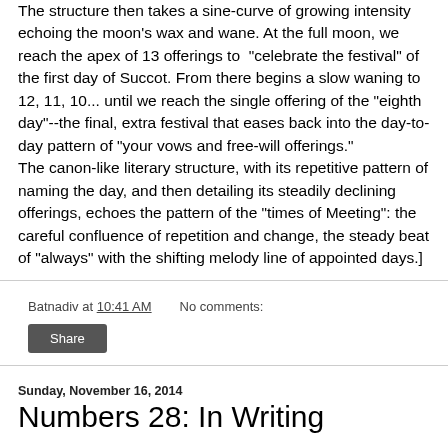The structure then takes a sine-curve of growing intensity echoing the moon's wax and wane. At the full moon, we reach the apex of 13 offerings to "celebrate the festival" of the first day of Succot. From there begins a slow waning to 12, 11, 10... until we reach the single offering of the "eighth day"--the final, extra festival that eases back into the day-to-day pattern of "your vows and free-will offerings." The canon-like literary structure, with its repetitive pattern of naming the day, and then detailing its steadily declining offerings, echoes the pattern of the "times of Meeting": the careful confluence of repetition and change, the steady beat of "always" with the shifting melody line of appointed days.]
Batnadiv at 10:41 AM   No comments:
Share
Sunday, November 16, 2014
Numbers 28: In Writing
This is my offering